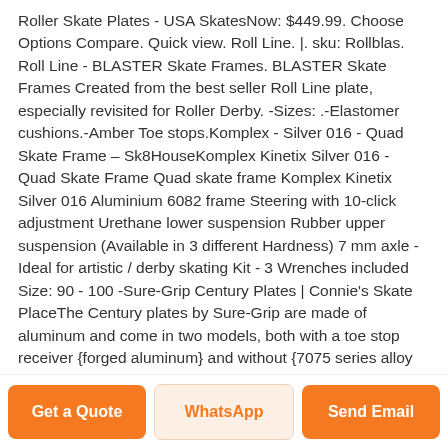Roller Skate Plates - USA SkatesNow: $449.99. Choose Options Compare. Quick view. Roll Line. |. sku: Rollblas. Roll Line - BLASTER Skate Frames. BLASTER Skate Frames Created from the best seller Roll Line plate, especially revisited for Roller Derby. -Sizes: .-Elastomer cushions.-Amber Toe stops.Komplex - Silver 016 - Quad Skate Frame – Sk8HouseKomplex Kinetix Silver 016 - Quad Skate Frame Quad skate frame Komplex Kinetix Silver 016 Aluminium 6082 frame Steering with 10-click adjustment Urethane lower suspension Rubber upper suspension (Available in 3 different Hardness) 7 mm axle - Ideal for artistic / derby skating Kit - 3 Wrenches included Size: 90 - 100 -Sure-Grip Century Plates | Connie's Skate PlaceThe Century plates by Sure-Grip are made of aluminum and come in two models, both with a toe stop receiver {forged aluminum} and without {7075 series alloy aluminum}. The toe stop model uses an off-set toe stop design to allow for .Carbon Zeus Speed
Get a Quote
WhatsApp
Send Email